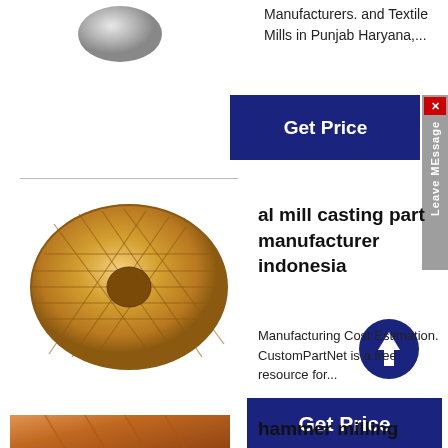[Figure (photo): Gray metallic spherical ball, partially visible at top left]
Manufacturers. and Textile Mills in Punjab Haryana,...
[Figure (other): Blue 'Get Price' button with 'Leave MEssage' side tab and X close button]
[Figure (photo): Gold/bronze patterned disc with geometric diamond/triangular cuts and center hole]
al mill casting part manufacturer indonesia
[Figure (other): Dark blue circle with white upward arrow icon]
Manufacturing Cost Estimation. CustomPartNet is a free resource for...
[Figure (other): Blue 'Get Price' button]
[Figure (photo): Copper/reddish metallic block or ingot, partially visible at bottom left]
hammer milling machine inc